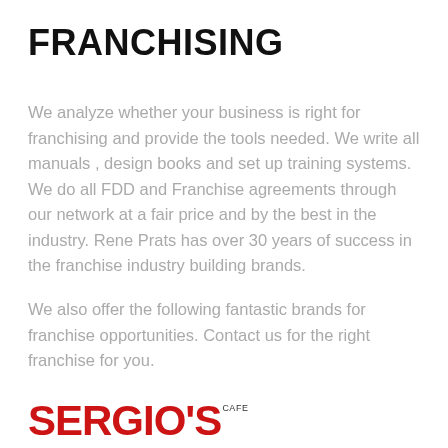FRANCHISING
We analyze whether your business is right for franchising and provide the tools needed. We write all manuals , design books and set up training systems. We do all FDD and Franchise agreements through our network at a fair price and by the best in the industry. Rene Prats has over 30 years of success in the franchise industry building brands.
We also offer the following fantastic brands for franchise opportunities. Contact us for the right franchise for you.
[Figure (logo): Sergio's Cafe logo in red and black text]